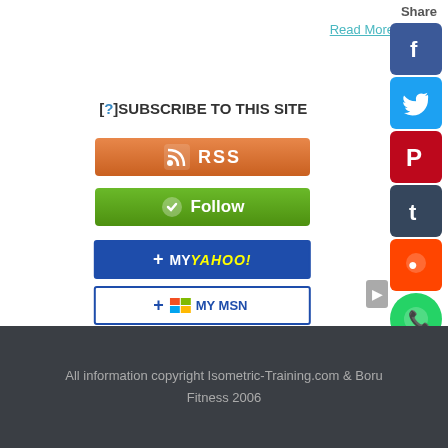Read More
[?]SUBSCRIBE TO THIS SITE
[Figure (illustration): RSS subscribe button - orange gradient]
[Figure (illustration): Follow button - green gradient]
[Figure (illustration): Add to My Yahoo! button - blue]
[Figure (illustration): Add to My MSN button - white/blue]
[Figure (illustration): Add to Bloglines button - white/blue]
[Figure (illustration): Share sidebar with Facebook, Twitter, Pinterest, Tumblr, Reddit, WhatsApp, Messenger icons]
All information copyright Isometric-Training.com & Boru Fitness 2006